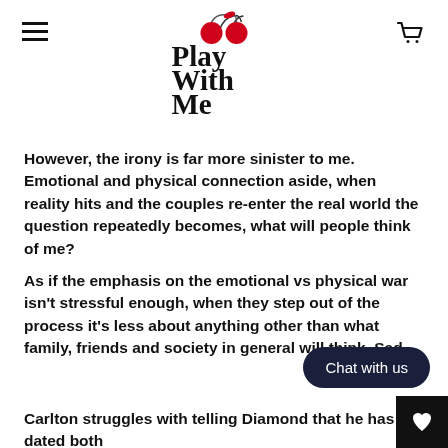Play With Me
However, the irony is far more sinister to me. Emotional and physical connection aside, when reality hits and the couples re-enter the real world the question repeatedly becomes, what will people think of me?
As if the emphasis on the emotional vs physical war isn't stressful enough, when they step out of the process it's less about anything other than what family, friends and society in general will think. Sad.
Carlton struggles with telling Diamond that he has dated both